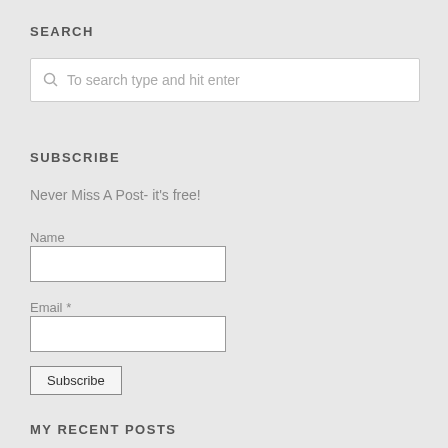SEARCH
[Figure (screenshot): Search input field with magnifying glass icon and placeholder text 'To search type and hit enter']
SUBSCRIBE
Never Miss A Post- it's free!
Name
[Figure (screenshot): Name input text field]
Email *
[Figure (screenshot): Email input text field]
[Figure (screenshot): Subscribe button]
MY RECENT POSTS